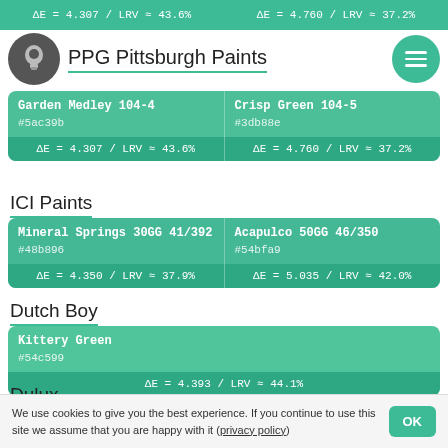ΔE = 4.307 / LRV ≈ 43.6%  |  ΔE = 4.760 / LRV ≈ 37.2%
PPG Pittsburgh Paints
| Color Name | Hex | ΔE | LRV |
| --- | --- | --- | --- |
| Garden Medley 104-4 | #5ac39b | 4.307 | 43.6% |
| Crisp Green 104-5 | #3db88e | 4.760 | 37.2% |
ICI Paints
| Color Name | Hex | ΔE | LRV |
| --- | --- | --- | --- |
| Mineral Springs 30GG 41/392 | #48b896 | 4.350 | 37.9% |
| Acapulco 50GG 46/350 | #54bfa9 | 5.035 | 42.0% |
Dutch Boy
| Color Name | Hex | ΔE | LRV |
| --- | --- | --- | --- |
| Kittery Green | #54c599 | 4.393 | 44.1% |
Dulux
We use cookies to give you the best experience. If you continue to use this site we assume that you are happy with it (privacy policy)